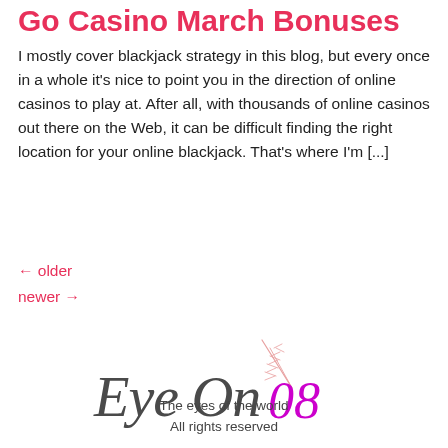Go Casino March Bonuses
I mostly cover blackjack strategy in this blog, but every once in a whole it's nice to point you in the direction of online casinos to play at. After all, with thousands of online casinos out there on the Web, it can be difficult finding the right location for your online blackjack. That's where I'm [...]
← older
newer →
[Figure (logo): EyeOn08 logo with decorative script text 'Eye On' in dark gray and '08' in purple/magenta with a pink leaf illustration]
The eyes of the world
All rights reserved